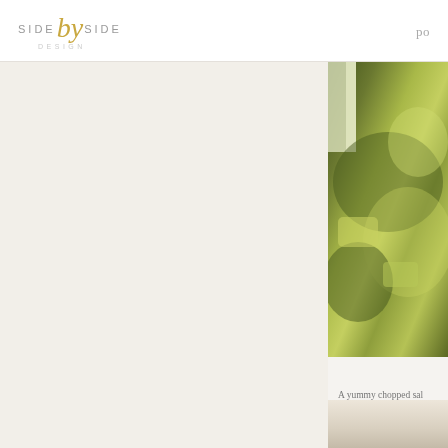SIDE by SIDE DESIGN | po
[Figure (photo): Close-up photo of a chopped green salad with olive oil dressing, showing green vegetables and possibly feta or similar ingredients on a plate, viewed from above]
A yummy chopped sal... with olive oil, salt, pep...
[Figure (photo): Partial photo visible at bottom right corner, appears to be a light-colored food or ingredient photo]